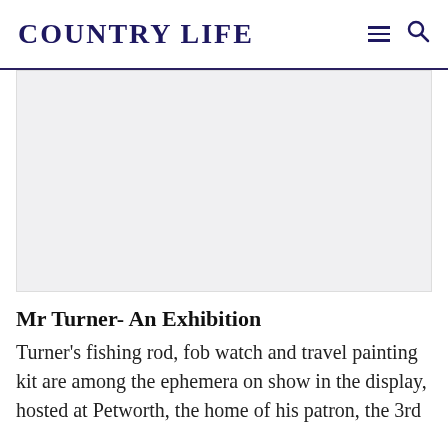COUNTRY LIFE
[Figure (photo): Large placeholder image area with light grey background, representing an article image for Mr Turner exhibition]
Mr Turner- An Exhibition
Turner’s fishing rod, fob watch and travel painting kit are among the ephemera on show in the display, hosted at Petworth, the home of his patron, the 3rd